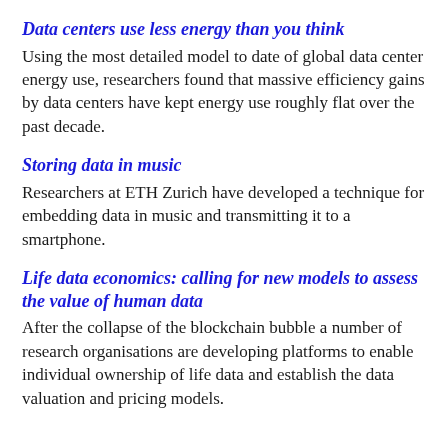Data centers use less energy than you think
Using the most detailed model to date of global data center energy use, researchers found that massive efficiency gains by data centers have kept energy use roughly flat over the past decade.
Storing data in music
Researchers at ETH Zurich have developed a technique for embedding data in music and transmitting it to a smartphone.
Life data economics: calling for new models to assess the value of human data
After the collapse of the blockchain bubble a number of research organisations are developing platforms to enable individual ownership of life data and establish the data valuation and pricing models.